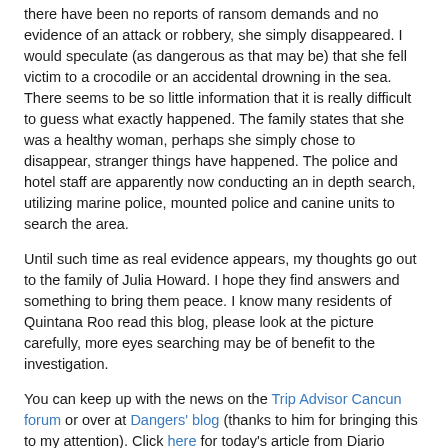there have been no reports of ransom demands and no evidence of an attack or robbery, she simply disappeared. I would speculate (as dangerous as that may be) that she fell victim to a crocodile or an accidental drowning in the sea. There seems to be so little information that it is really difficult to guess what exactly happened. The family states that she was a healthy woman, perhaps she simply chose to disappear, stranger things have happened. The police and hotel staff are apparently now conducting an in depth search, utilizing marine police, mounted police and canine units to search the area.
Until such time as real evidence appears, my thoughts go out to the family of Julia Howard. I hope they find answers and something to bring them peace. I know many residents of Quintana Roo read this blog, please look at the picture carefully, more eyes searching may be of benefit to the investigation.
You can keep up with the news on the Trip Advisor Cancun forum or over at Dangers' blog (thanks to him for bringing this to my attention). Click here for today's article from Diario